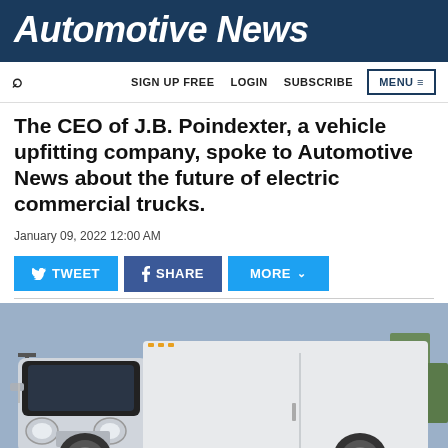Automotive News
SIGN UP FREE  LOGIN  SUBSCRIBE  MENU
The CEO of J.B. Poindexter, a vehicle upfitting company, spoke to Automotive News about the future of electric commercial trucks.
January 09, 2022 12:00 AM
[Figure (screenshot): Social sharing buttons: TWEET, SHARE, MORE]
[Figure (photo): Photo of a white electric commercial delivery truck/van on a city street background]